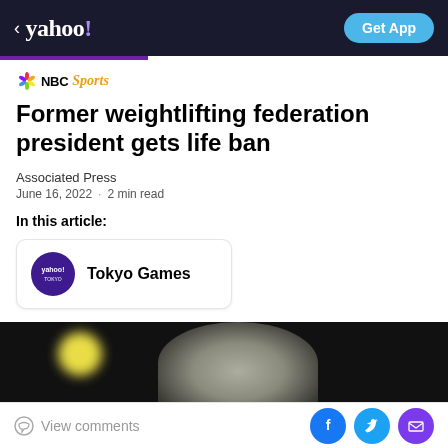< yahoo! — Get App
[Figure (logo): NBC Sports logo with peacock icon]
Former weightlifting federation president gets life ban
Associated Press
June 16, 2022 · 2 min read
In this article:
Tokyo Games
[Figure (photo): Dark photo of a person with yellow light in background]
View comments — Facebook, Twitter, Mail share icons